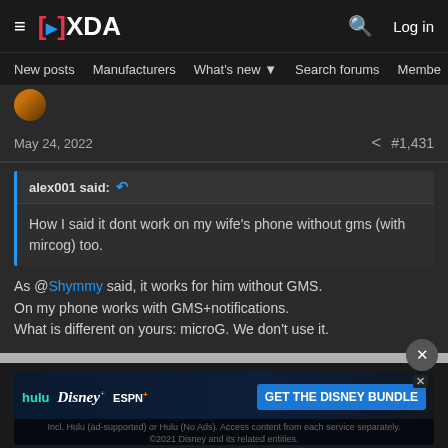XDA Forums navigation bar with logo, search, and Log in
New posts  Manufacturers  What's new  Search forums  Members
[Figure (screenshot): User avatar thumbnail visible at top of post]
May 24, 2022   #1,431
alex001 said: How I said it dont work on my wife's phone without gms (with mircog) too.
As @Shymmy said, it works for him without GMS.
On my phone works with GMS+notifications.
What is different on yours: microG. We don't use it.
[Figure (screenshot): Disney Bundle advertisement banner with Hulu, Disney+, ESPN+ logos and GET THE DISNEY BUNDLE button. Fine print: Incl. Hulu (ad-supported) or Hulu (No Ads). Access content from each service separately. ©2021 Disney and its related entities.]
Senior Member